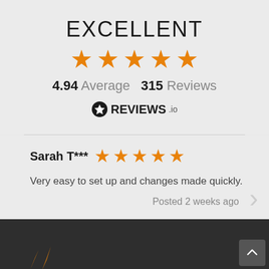EXCELLENT
[Figure (other): Five orange stars rating display]
4.94 Average  315 Reviews
[Figure (logo): REVIEWS.io logo with star badge icon]
Sarah T***
[Figure (other): Five orange stars for Sarah T*** review]
Very easy to set up and changes made quickly.
Posted 2 weeks ago